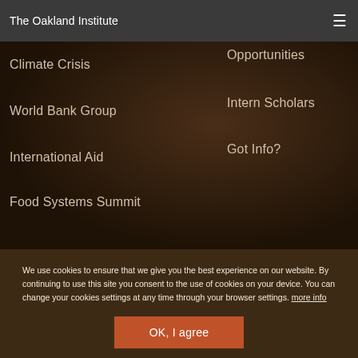The Oakland Institute
Opportunities
Climate Crisis
Intern Scholars
World Bank Group
Got Info?
International Aid
Food Systems Summit
We use cookies to ensure that we give you the best experience on our website. By continuing to use this site you consent to the use of cookies on your device. You can change your cookies settings at any time through your browser settings. more info
OK, I agree